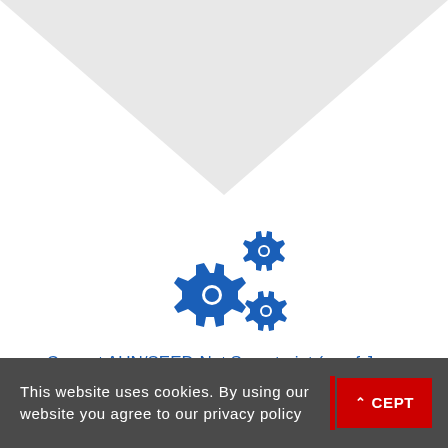[Figure (illustration): Gray triangle/chevron shape pointing downward at the top of the page]
[Figure (illustration): Three blue gear/cog icons arranged in a cluster in the center of the page]
Current AUN/SEED-Net Secretariat (as of June
This website uses cookies. By using our website you agree to our privacy policy
ACCEPT